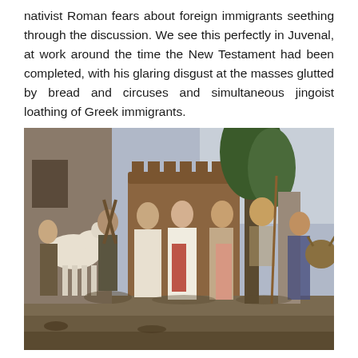nativist Roman fears about foreign immigrants seething through the discussion. We see this perfectly in Juvenal, at work around the time the New Testament had been completed, with his glaring disgust at the masses glutted by bread and circuses and simultaneous jingoist loathing of Greek immigrants.
[Figure (photo): A neoclassical oil painting depicting several figures in ancient Roman or Greek attire. Central figures appear to be engaged in a handshake or exchange. A white horse is visible on the left, a tree on the right, and a bull is partially visible in the far right background. The scene is set against a stone building and a muted landscape.]